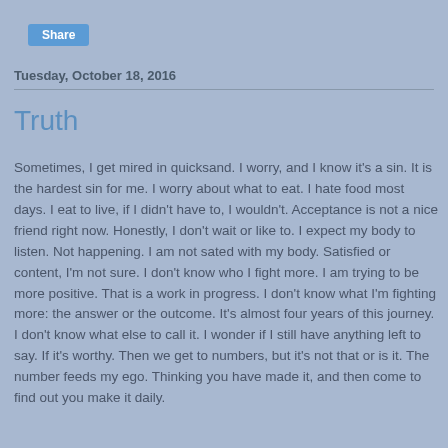Share
Tuesday, October 18, 2016
Truth
Sometimes, I get mired in quicksand.  I worry, and I know it's a sin.  It is the hardest sin for me.  I worry about what to eat.  I hate food most days.  I eat to live, if I didn't have to, I wouldn't.  Acceptance is not a nice friend right now.  Honestly, I don't wait or like to.  I expect my body to listen.  Not happening.  I am not sated with my body.  Satisfied or content, I'm not sure.  I don't know who I fight more.  I am trying to be more positive.  That is a work in progress.   I don't know what I'm fighting more:  the answer or the outcome.  It's almost four years of this journey.  I don't know what else to call it.  I wonder if I still have anything left to say.  If it's worthy.  Then we get to numbers, but it's not that or is it.  The number feeds my ego.  Thinking you have made it, and then come to find out you make it daily.